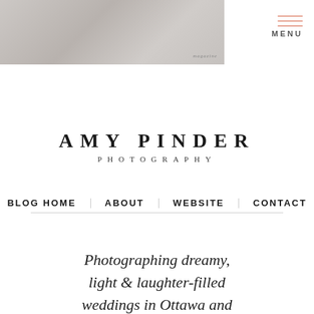[Figure (photo): Faded/muted editorial-style photograph used as a header banner, with 'magazine' watermark in bottom right]
MENU
AMY PINDER PHOTOGRAPHY
BLOG HOME  ABOUT  WEBSITE  CONTACT
Photographing dreamy, light & laughter-filled weddings in Ottawa and